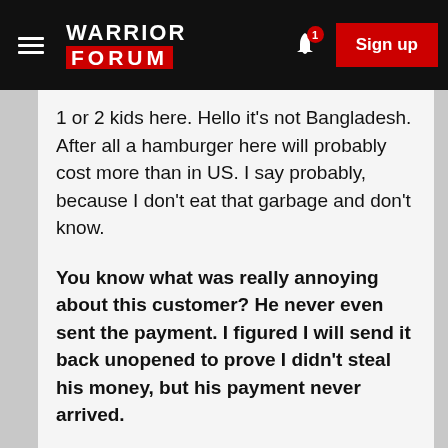Warrior Forum — Sign up
1 or 2 kids here. Hello it's not Bangladesh. After all a hamburger here will probably cost more than in US. I say probably, because I don't eat that garbage and don't know.
You know what was really annoying about this customer? He never even sent the payment. I figured I will send it back unopened to prove I didn't steal his money, but his payment never arrived.